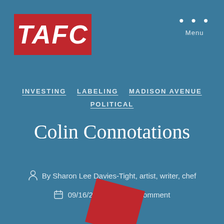[Figure (logo): TAFC logo in red rectangle with white italic text]
Menu
INVESTING   LABELING   MADISON AVENUE   POLITICAL
Colin Connotations
By Sharon Lee Davies-Tight, artist, writer, chef
09/16/2018   1 Comment